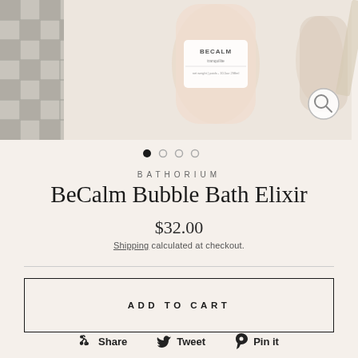[Figure (photo): Product photo of BeCalm bubble bath elixir bottle by Bathorium, shown with a mosaic tile background on the left and soft white surface on the right. A magnifying glass icon appears in the lower right of the image area.]
BATHORIUM
BeCalm Bubble Bath Elixir
$32.00
Shipping calculated at checkout.
ADD TO CART
Share  Tweet  Pin it